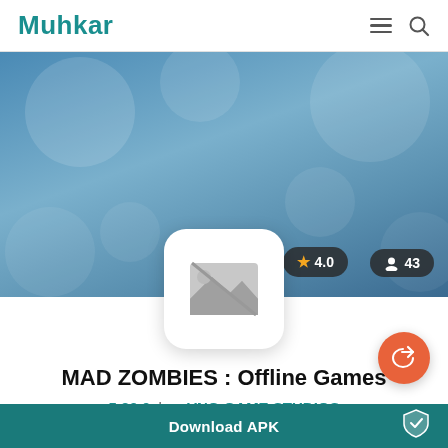Muhkar
[Figure (screenshot): App hero banner with blurred blue background, app icon placeholder in center, rating badge showing 4.0 and users badge showing 43]
MAD ZOMBIES : Offline Games
5.30.0  by  VNG GAME STUDIOS
Mad Zombies: Offline Games is a 3D zombie shooter where you may put your shooting and killing skills to the test
Download APK